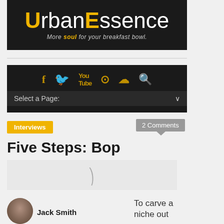[Figure (logo): UrbanEssence logo on dark background with tagline 'More soul for your breakfast bowl.']
[Figure (infographic): Dark navigation bar with social media icons (Facebook, Twitter, YouTube, Instagram, SoundCloud, Search) and a page selector dropdown reading 'Select a Page:']
Interviews
2 Comments
Five Steps: Bop
[Figure (photo): Loading spinner / placeholder image area]
[Figure (photo): Circular avatar photo of Jack Smith]
Jack Smith
To carve a niche out